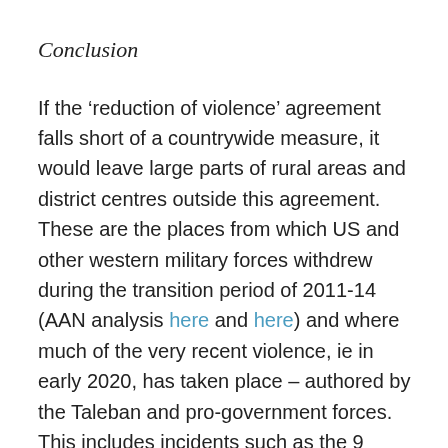Conclusion
If the ‘reduction of violence’ agreement falls short of a countrywide measure, it would leave large parts of rural areas and district centres outside this agreement. These are the places from which US and other western military forces withdrew during the transition period of 2011-14 (AAN analysis here and here) and where much of the very recent violence, ie in early 2020, has taken place – authored by the Taleban and pro-government forces. This includes incidents such as the 9 February car bomb attack against a